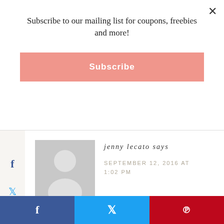Subscribe to our mailing list for coupons, freebies and more!
Subscribe
[Figure (illustration): Gray silhouette avatar placeholder image for user profile photo]
jenny lecato says
SEPTEMBER 12, 2016 AT 1:02 PM
Bonny leggings with an attached skirt are a hit here!